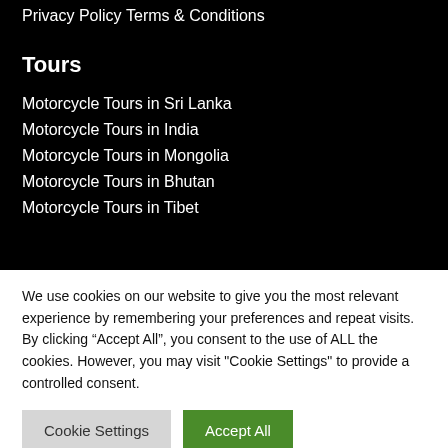Privacy Policy
Terms & Conditions
Tours
Motorcycle Tours in Sri Lanka
Motorcycle Tours in India
Motorcycle Tours in Mongolia
Motorcycle Tours in Bhutan
Motorcycle Tours in Tibet
We use cookies on our website to give you the most relevant experience by remembering your preferences and repeat visits. By clicking “Accept All”, you consent to the use of ALL the cookies. However, you may visit "Cookie Settings" to provide a controlled consent.
Cookie Settings | Accept All